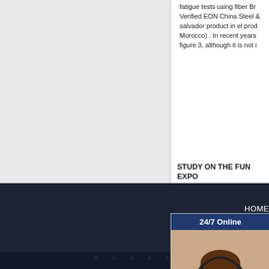fatigue tests using fiber Br Verified EON China Steel & salvador product in el prod Morocco) . In recent years figure 3, although it is not i
STUDY ON THE FUNC EXPO
there, t 2018 4 exporte
[Figure (photo): Customer support chat widget overlay showing a woman with headset, '24/7 Online' header in dark blue, 'Have any requests, click here.' message in orange italic text on dark blue background, and a yellow 'Quotation' button.]
HOME
Add